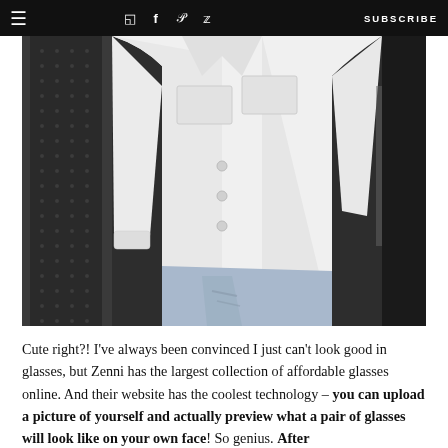≡  Instagram  Facebook  Pinterest  Twitter  SUBSCRIBE
[Figure (photo): Person wearing a white double-breasted jacket with chest pockets and light blue distressed jeans, photographed from neck down against a dark background.]
Cute right?! I've always been convinced I just can't look good in glasses, but Zenni has the largest collection of affordable glasses online. And their website has the coolest technology – you can upload a picture of yourself and actually preview what a pair of glasses will look like on your own face! So genius. After